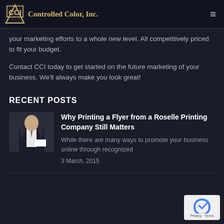CCI Controlled Color, Inc.
your marketing efforts to a whole new level. All competitively priced to fit your budget.
Contact CCI today to get started on the future marketing of your business. We'll always make you look great!
RECENT POSTS
[Figure (photo): Person in business suit holding a white card]
Why Printing a Flyer from a Roselle Printing Company Still Matters
While there are many ways to promote your business online through recognized
3 March, 2015